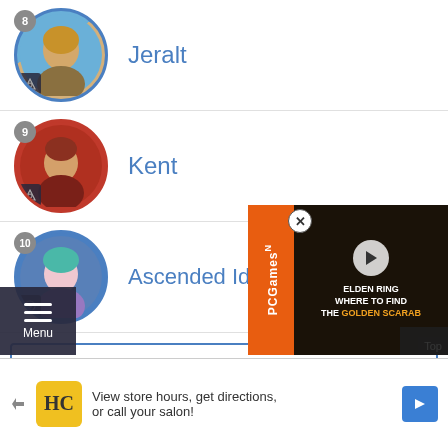8 Jeralt
9 Kent
10 Ascended Idunn
See All
Latest Posts
08/28/2022 - 23:21
It's been awhile since the last ... waiting to debut in feh
[Figure (screenshot): PCGamesN video overlay: ELDEN RING WHERE TO FIND THE GOLDEN SCARAB]
View store hours, get directions, or call your salon!